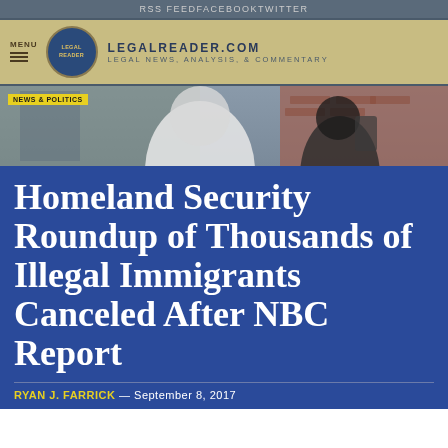RSS FEED   FACEBOOK   TWITTER
LEGALREADER.COM   LEGAL NEWS, ANALYSIS, & COMMENTARY
[Figure (photo): Blurred photo of people from behind near a brick wall building, outdoors]
NEWS & POLITICS
Homeland Security Roundup of Thousands of Illegal Immigrants Canceled After NBC Report
RYAN J. FARRICK — September 8, 2017